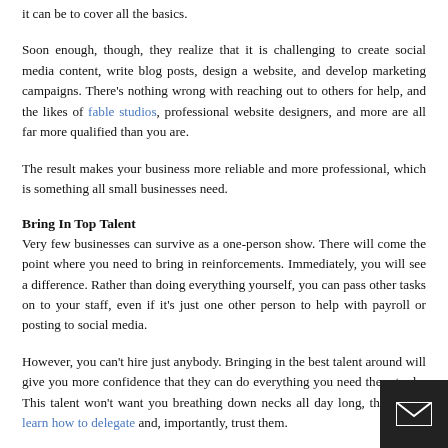it can be to cover all the basics.
Soon enough, though, they realize that it is challenging to create social media content, write blog posts, design a website, and develop marketing campaigns. There's nothing wrong with reaching out to others for help, and the likes of fable studios, professional website designers, and more are all far more qualified than you are.
The result makes your business more reliable and more professional, which is something all small businesses need.
Bring In Top Talent
Very few businesses can survive as a one-person show. There will come the point where you need to bring in reinforcements. Immediately, you will see a difference. Rather than doing everything yourself, you can pass other tasks on to your staff, even if it's just one other person to help with payroll or posting to social media.
However, you can't hire just anybody. Bringing in the best talent around will give you more confidence that they can do everything you need them to do. This talent won't want you breathing down necks all day long, though, so learn how to delegate and, importantly, trust them.